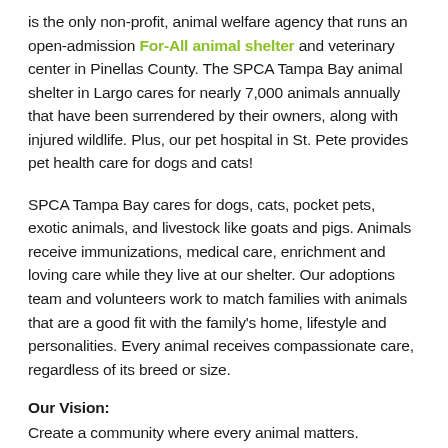is the only non-profit, animal welfare agency that runs an open-admission For-All animal shelter and veterinary center in Pinellas County. The SPCA Tampa Bay animal shelter in Largo cares for nearly 7,000 animals annually that have been surrendered by their owners, along with injured wildlife. Plus, our pet hospital in St. Pete provides pet health care for dogs and cats!
SPCA Tampa Bay cares for dogs, cats, pocket pets, exotic animals, and livestock like goats and pigs. Animals receive immunizations, medical care, enrichment and loving care while they live at our shelter. Our adoptions team and volunteers work to match families with animals that are a good fit with the family's home, lifestyle and personalities. Every animal receives compassionate care, regardless of its breed or size.
Our Vision:
Create a community where every animal matters.